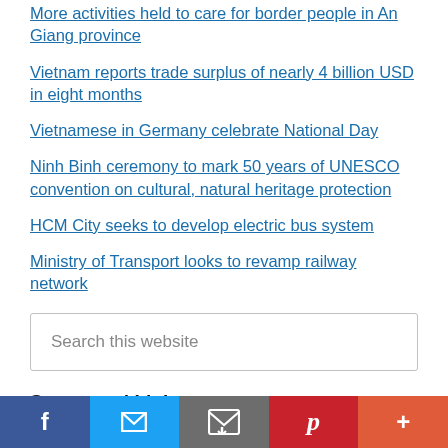More activities held to care for border people in An Giang province
Vietnam reports trade surplus of nearly 4 billion USD in eight months
Vietnamese in Germany celebrate National Day
Ninh Binh ceremony to mark 50 years of UNESCO convention on cultural, natural heritage protection
HCM City seeks to develop electric bus system
Ministry of Transport looks to revamp railway network
Search this website
Sponsored Links